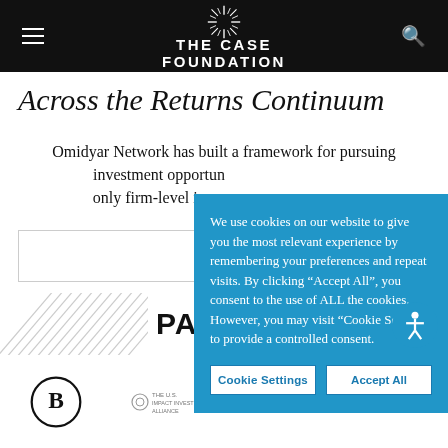THE CASE FOUNDATION
Across the Returns Continuum
Omidyar Network has built a framework for pursuing investment opportunities across the impact, not only firm-level impact
R...
We use cookies on our website to give you the most relevant experience by remembering your preferences and repeat visits. By clicking “Accept All”, you consent to the use of ALL the cookies. However, you may visit "Cookie Settings" to provide a controlled consent.
Cookie Settings | Accept All
PA
[Figure (logo): B Corp logo circle]
[Figure (logo): US Impact Investing Alliance logo]
[Figure (logo): IMPACTALPHA logo]
[Figure (logo): GUN partial logo]